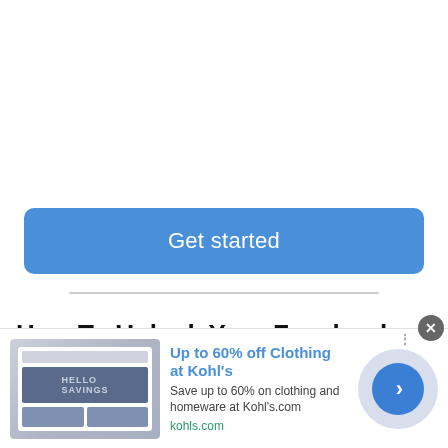[Figure (screenshot): White empty area at top of webpage]
[Figure (screenshot): Blue 'Get started' button, rounded rectangle, white text]
[Figure (screenshot): Horizontal grey divider line]
How To Unlock Your Facebook Account Process?
[Figure (screenshot): Advertisement overlay: Kohl's clothing sale ad with image, title 'Up to 60% off Clothing at Kohl's', description 'Save up to 60% on clothing and homeware at Kohl's.com', URL 'kohls.com', navigation arrow button, and close X button]